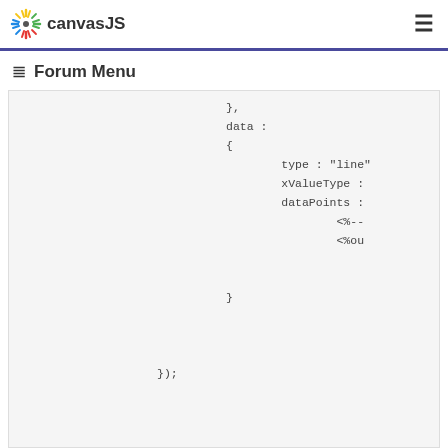canvasJS
≡ Forum Menu
},
    data :
    {
        type : "line"
        xValueType :
        dataPoints :
            <%--
            <%ou

    }


    });




    chart.render();

<%}%>